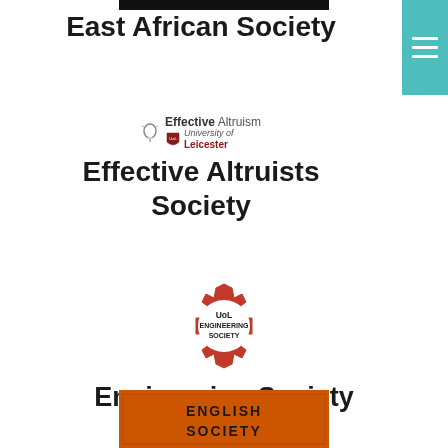[Figure (other): Black rectangular bar at top center, used as a graphic element above the East African Society heading]
East African Society
[Figure (logo): Effective Altruism logo with a lightbulb icon and text 'Effective Altruism', below it University of Leicester shield logo with text 'University of Leicester']
Effective Altruists Society
[Figure (logo): UoL Engineering Society logo: a red gear/cog shape with text 'UoL ENGINEERING SOCIETY' inside]
Engineering Society
[Figure (logo): English Society logo: partial view of an orange/brown banner with text 'ENGLISH SOCIETY']